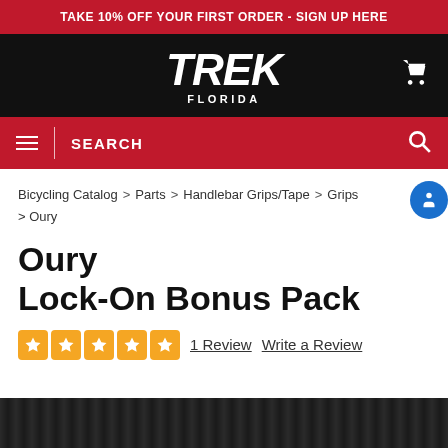TAKE 10% OFF YOUR FIRST ORDER - SIGN UP HERE
[Figure (logo): Trek Florida logo on black background with shopping cart icon]
SEARCH
Bicycling Catalog > Parts > Handlebar Grips/Tape > Grips > Oury
Oury Lock-On Bonus Pack
1 Review   Write a Review
[Figure (photo): Bottom portion of black bicycle handlebar grip product]